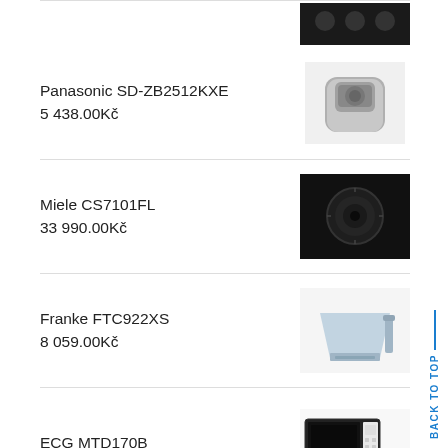Panasonic SD-ZB2512KXE
5 438.00Kč
Miele CS7101FL
33 990.00Kč
Franke FTC922XS
8 059.00Kč
ECG MTD170B
Bosch KIV34X20